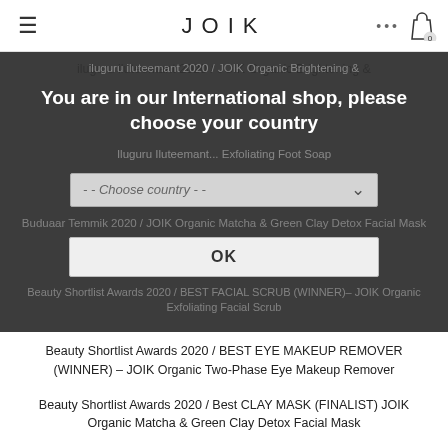JOIK
iluguru iluteemant 2020 / JOIK Organic Brightening &
You are in our International shop, please choose your country
Iluguru Iluteemant... Exfoliating Foot Soap
-- Choose country --
Buduaar Temmik 2020 / JOIK Organic Matcha & Green Clay Detox Facial Mask
OK
Beauty Shortlist Awards 2020 / BEST FACIAL SCRUB (WINNER)- JOIK Organic Exfoliating Facial Scrub
Beauty Shortlist Awards 2020 / BEST EYE MAKEUP REMOVER (WINNER) – JOIK Organic Two-Phase Eye Makeup Remover
Beauty Shortlist Awards 2020 / Best CLAY MASK (FINALIST) JOIK Organic Matcha & Green Clay Detox Facial Mask
Beauty Shortlist Awards 2020 / EDITORS CHOICE – JOIK Organic Silky Facial Oil Serum
JOIK Organic Illuminating & Brightening AHA Facial Toner